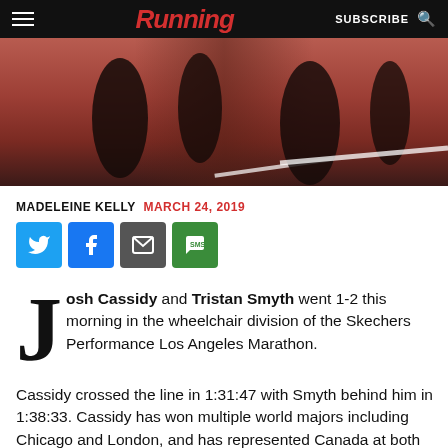Running — SUBSCRIBE
[Figure (photo): Close-up photo of wheelchair racing wheels on a red running track with a white lane line visible]
MADELEINE KELLY  MARCH 24, 2019
[Figure (infographic): Social sharing buttons: Twitter, Facebook, Email, SMS]
Josh Cassidy and Tristan Smyth went 1-2 this morning in the wheelchair division of the Skechers Performance Los Angeles Marathon.
Cassidy crossed the line in 1:31:47 with Smyth behind him in 1:38:33. Cassidy has won multiple world majors including Chicago and London, and has represented Canada at both the 2008 and 2012